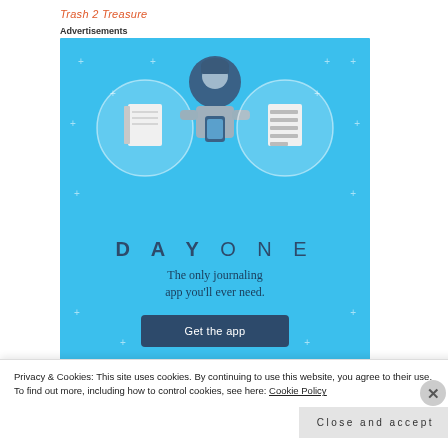Trash 2 Treasure
Advertisements
[Figure (illustration): Day One journaling app advertisement on a sky-blue background. Shows a person holding a phone with a journal/notebook on the left and a checklist on the right. Text reads 'D A Y O N E' and 'The only journaling app you'll ever need.' with a 'Get the app' button.]
Privacy & Cookies: This site uses cookies. By continuing to use this website, you agree to their use.
To find out more, including how to control cookies, see here: Cookie Policy
Close and accept